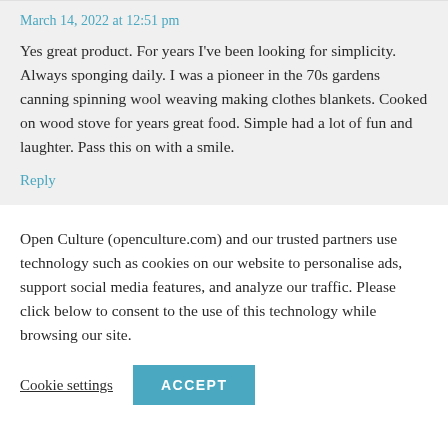March 14, 2022 at 12:51 pm
Yes great product. For years I've been looking for simplicity. Always sponging daily. I was a pioneer in the 70s gardens canning spinning wool weaving making clothes blankets. Cooked on wood stove for years great food. Simple had a lot of fun and laughter. Pass this on with a smile.
Reply
Open Culture (openculture.com) and our trusted partners use technology such as cookies on our website to personalise ads, support social media features, and analyze our traffic. Please click below to consent to the use of this technology while browsing our site.
Cookie settings
ACCEPT